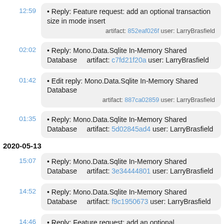12:59 • Reply: Feature request: add an optional transaction size in mode insert artifact: 852eaf026f user: LarryBrasfield
02:02 • Reply: Mono.Data.Sqlite In-Memory Shared Database artifact: c7fd21f20a user: LarryBrasfield
01:42 • Edit reply: Mono.Data.Sqlite In-Memory Shared Database artifact: 887ca02859 user: LarryBrasfield
01:35 • Reply: Mono.Data.Sqlite In-Memory Shared Database artifact: 5d02845ad4 user: LarryBrasfield
2020-05-13
15:07 • Reply: Mono.Data.Sqlite In-Memory Shared Database artifact: 3e34444801 user: LarryBrasfield
14:52 • Reply: Mono.Data.Sqlite In-Memory Shared Database artifact: f9c1950673 user: LarryBrasfield
14:46 • Reply: Feature request: add an optional